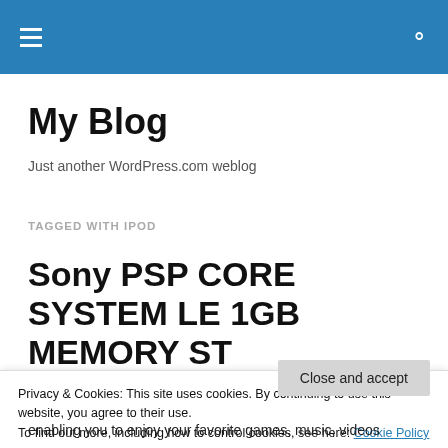My Blog — navigation header bar
My Blog
Just another WordPress.com weblog
TAGGED WITH IPOD
Sony PSP CORE SYSTEM LE 1GB MEMORY ST
Privacy & Cookies: This site uses cookies. By continuing to use this website, you agree to their use.
To find out more, including how to control cookies, see here: Cookie Policy
Close and accept
enabling you to enjoy your favorite games, music, videos